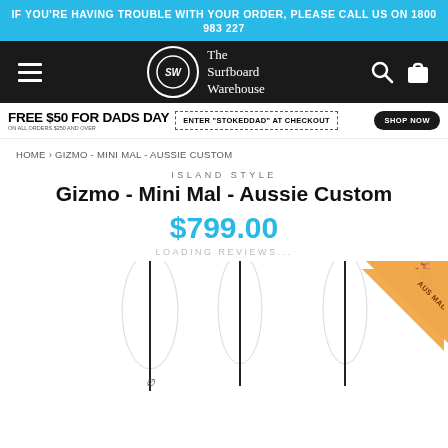IF YOU'RE HAVING TROUBLE WITH YOUR ORDER, PLEASE CALL US ON 1800 983 227
[Figure (logo): The Surfboard Warehouse logo with navigation hamburger menu, search icon, and cart icon on black background]
FREE $50 FOR DADS DAY on all orders $250 and over | ENTER "STOKEDDAD" AT CHECKOUT | SHOP NOW
HOME › GIZMO - MINI MAL - AUSSIE CUSTOM
ISLAND STYLE
Gizmo - Mini Mal - Aussie Custom
$799.00
LOADING REVIEWS...
[Figure (photo): Three white surfboards with black center stripe and Island Style logo, plus AUS MADE badge in top right corner]